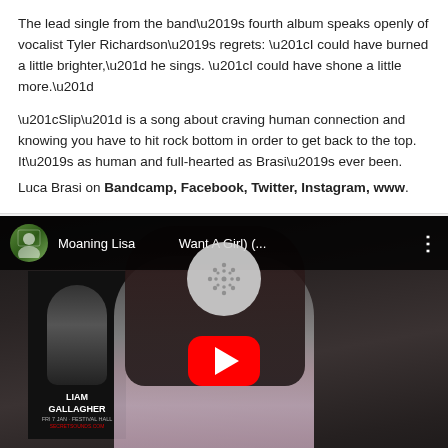The lead single from the band’s fourth album speaks openly of vocalist Tyler Richardson’s regrets: “I could have burned a little brighter,” he sings. “I could have shone a little more.”
“Slip” is a song about craving human connection and knowing you have to hit rock bottom in order to get back to the top. It’s as human and full-hearted as Brasi’s ever been.
Luca Brasi on Bandcamp, Facebook, Twitter, Instagram, www.
[Figure (screenshot): YouTube video thumbnail showing a young woman with long dark hair in a pink top, sitting in a bedroom with band posters on the wall including a Liam Gallagher poster. The video title bar reads 'Moaning Lisa ... Want A Girl) (...)'. A YouTube play button is overlaid in the center.]